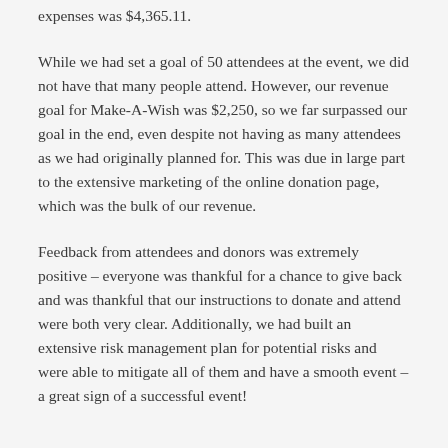expenses was $4,365.11.
While we had set a goal of 50 attendees at the event, we did not have that many people attend. However, our revenue goal for Make-A-Wish was $2,250, so we far surpassed our goal in the end, even despite not having as many attendees as we had originally planned for. This was due in large part to the extensive marketing of the online donation page, which was the bulk of our revenue.
Feedback from attendees and donors was extremely positive – everyone was thankful for a chance to give back and was thankful that our instructions to donate and attend were both very clear. Additionally, we had built an extensive risk management plan for potential risks and were able to mitigate all of them and have a smooth event – a great sign of a successful event!